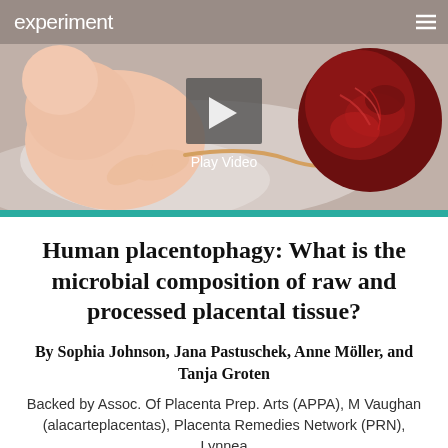[Figure (photo): Header image showing a newborn baby with umbilical cord and placenta on white background, with 'experiment' website navigation bar and a video play button overlay saying 'Play Video']
Human placentophagy: What is the microbial composition of raw and processed placental tissue?
By Sophia Johnson, Jana Pastuschek, Anne Möller, and Tanja Groten
Backed by Assoc. Of Placenta Prep. Arts (APPA), M Vaughan (alacarteplacentas), Placenta Remedies Network (PRN), Lynnea